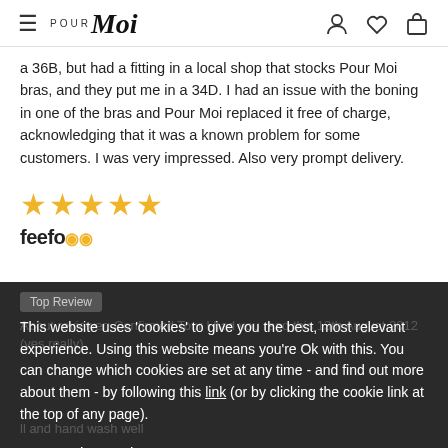Pour Moi — navigation header with hamburger menu, logo, and icons for account, wishlist, bag
a 36B, but had a fitting in a local shop that stocks Pour Moi bras, and they put me in a 34D. I had an issue with the boning in one of the bras and Pour Moi replaced it free of charge, acknowledging that it was a known problem for some customers. I was very impressed. Also very prompt delivery.
[Figure (other): Five gold star rating]
feefo
Top Review
This website uses 'cookies' to give you the best, most relevant experience. Using this website means you're Ok with this. You can change which cookies are set at any time - and find out more about them - by following this link (or by clicking the cookie link at the top of any page).
ll and hand wash well
OK, I understand